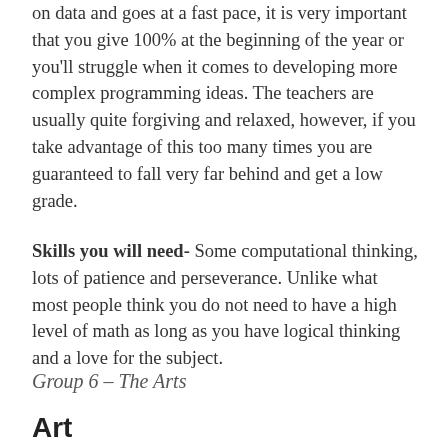on data and goes at a fast pace, it is very important that you give 100% at the beginning of the year or you'll struggle when it comes to developing more complex programming ideas. The teachers are usually quite forgiving and relaxed, however, if you take advantage of this too many times you are guaranteed to fall very far behind and get a low grade.
Skills you will need- Some computational thinking, lots of patience and perseverance. Unlike what most people think you do not need to have a high level of math as long as you have logical thinking and a love for the subject.
Group 6 – The Arts
Art